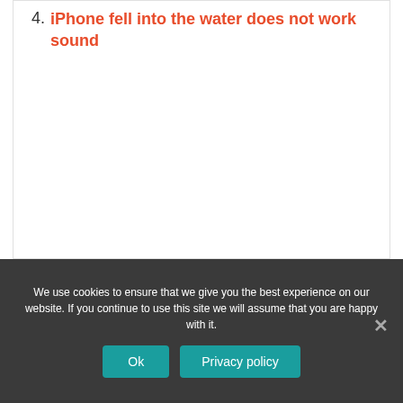4. iPhone fell into the water does not work sound
We use cookies to ensure that we give you the best experience on our website. If you continue to use this site we will assume that you are happy with it.